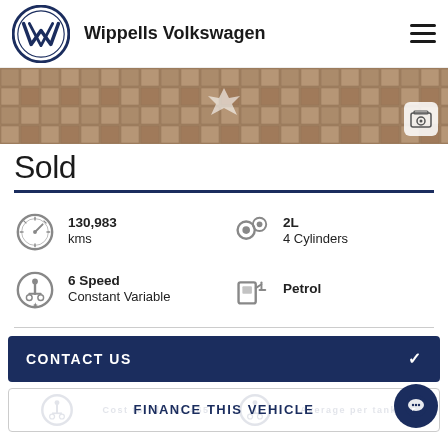[Figure (logo): Wippells Volkswagen header with VW logo, brand name, and hamburger menu icon]
[Figure (photo): Hero image showing a tiled floor/pavement surface in brownish tones with a gallery icon button]
Sold
130,983 kms
2L 4 Cylinders
6 Speed Constant Variable
Petrol
CONTACT US
FINANCE THIS VEHICLE